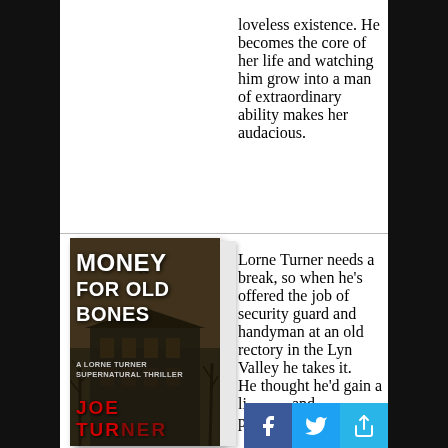loveless existence. He becomes the core of her life and watching him grow into a man of extraordinary ability makes her audacious.
[Figure (photo): Book cover of 'Money for Old Bones: A Lorne Turner Supernatural Thriller' by Joe Turner, showing a dark gothic building with bare trees against a sepia sky. The title is in large white bold text, the author name in red at the bottom.]
Lorne Turner needs a break, so when he's offered the job of security guard and handyman at an old rectory in the Lyn Valley he takes it.
He thought he'd gain a little peace and perspective.